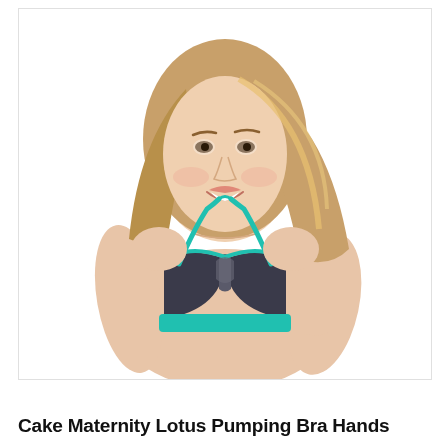[Figure (photo): A smiling woman with long blonde hair wearing a dark navy/charcoal sports bra with teal/aqua trim and straps, posing with one hand on hip against a white background. The bra is a racerback style maternity/pumping bra.]
Cake Maternity Lotus Pumping Bra Hands